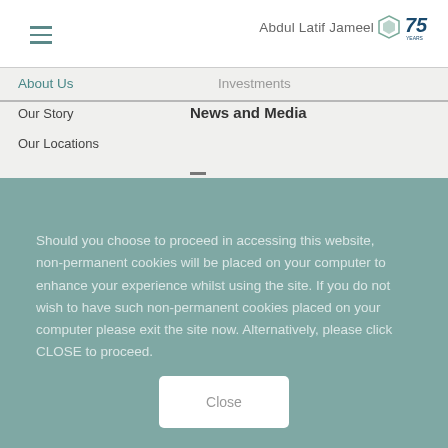[Figure (logo): Abdul Latif Jameel logo with hexagonal icon and 75 Years anniversary badge]
About Us
Investments
Our Story
News and Media
Our Locations
Should you choose to proceed in accessing this website, non-permanent cookies will be placed on your computer to enhance your experience whilst using the site. If you do not wish to have such non-permanent cookies placed on your computer please exit the site now. Alternatively, please click CLOSE to proceed.
Close